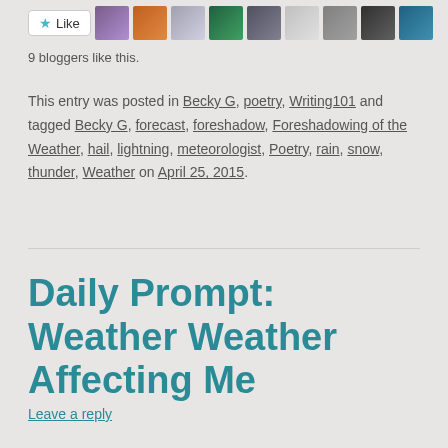[Figure (other): Like button with star icon and 9 blogger avatar thumbnails]
9 bloggers like this.
This entry was posted in Becky G, poetry, Writing101 and tagged Becky G, forecast, foreshadow, Foreshadowing of the Weather, hail, lightning, meteorologist, Poetry, rain, snow, thunder, Weather on April 25, 2015.
Daily Prompt: Weather Weather Affecting Me
Leave a reply